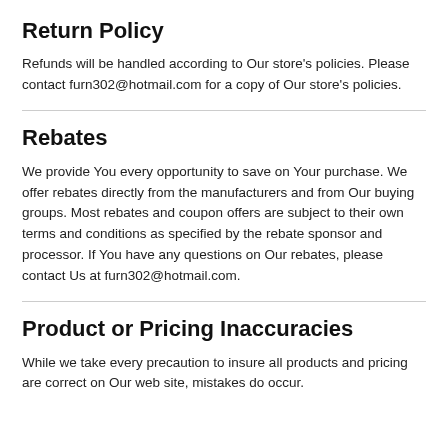Return Policy
Refunds will be handled according to Our store's policies. Please contact furn302@hotmail.com for a copy of Our store's policies.
Rebates
We provide You every opportunity to save on Your purchase. We offer rebates directly from the manufacturers and from Our buying groups. Most rebates and coupon offers are subject to their own terms and conditions as specified by the rebate sponsor and processor. If You have any questions on Our rebates, please contact Us at furn302@hotmail.com.
Product or Pricing Inaccuracies
While we take every precaution to insure all products and pricing are correct on Our web site, mistakes do occur.